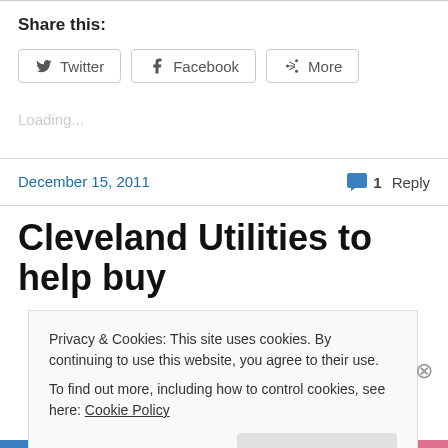Share this:
[Figure (screenshot): Social share buttons: Twitter, Facebook, More]
Loading...
December 15, 2011  1 Reply
Cleveland Utilities to help buy
Privacy & Cookies: This site uses cookies. By continuing to use this website, you agree to their use.
To find out more, including how to control cookies, see here: Cookie Policy
Close and accept